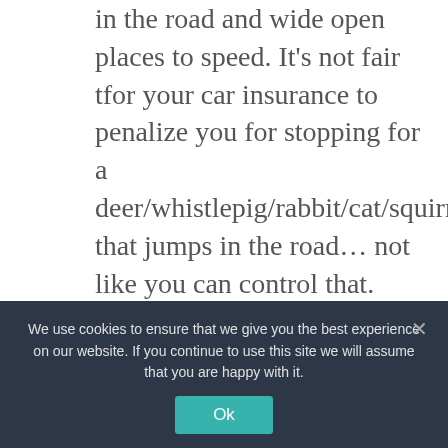in the road and wide open places to speed. It's not fair tfor your car insurance to penalize you for stopping for a deer/whistlepig/rabbit/cat/squirrel that jumps in the road… not like you can control that.
Reply
Holly Johnson says:
We use cookies to ensure that we give you the best experience on our website. If you continue to use this site we will assume that you are happy with it.
Ok